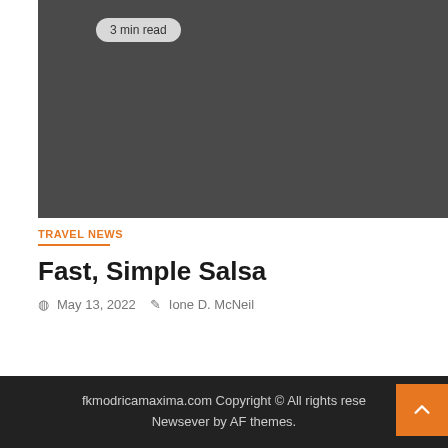[Figure (photo): Dark gray placeholder image area with a '3 min read' badge in the top-left corner]
TRAVEL NEWS
Fast, Simple Salsa
May 13, 2022   Ione D. McNeil
fkmodricamaxima.com Copyright © All rights reserved. Newsever by AF themes.